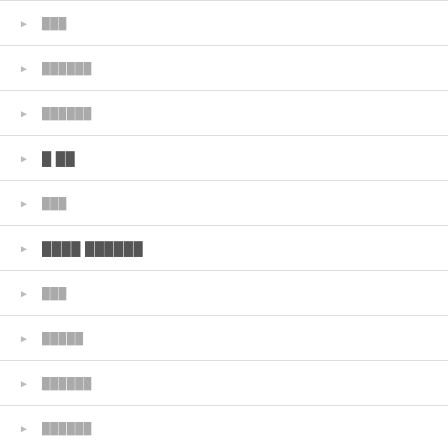███
██████
██████
█ ██
███
████ ██████
███
█████
██████
██████
█████